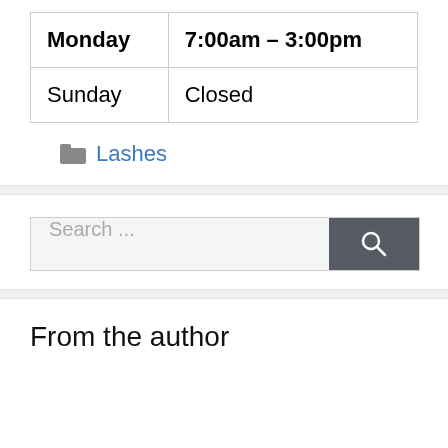| Monday | 7:00am – 3:00pm |
| Sunday | Closed |
Lashes
[Figure (other): Search bar with text 'Search ...' and a dark search button with magnifying glass icon]
From the author